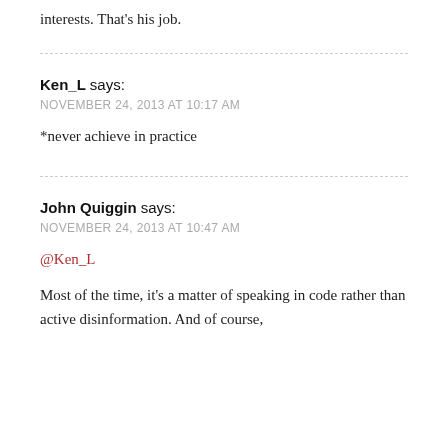interests. That's his job.
Ken_L says:
NOVEMBER 24, 2013 AT 10:17 AM

*never achieve in practice
John Quiggin says:
NOVEMBER 24, 2013 AT 10:47 AM

@Ken_L

Most of the time, it's a matter of speaking in code rather than active disinformation. And of course,